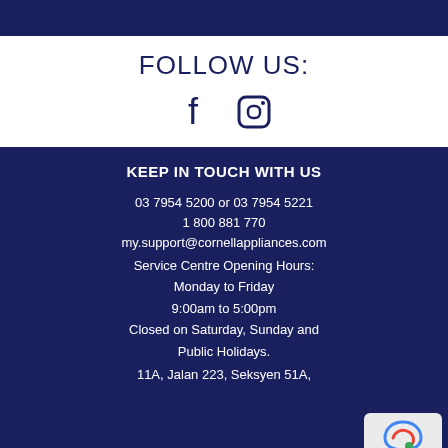FOLLOW US:
[Figure (illustration): Facebook and Instagram social media icons]
KEEP IN TOUCH WITH US
03 7954 5200 or 03 7954 5221
1 800 881 770
my.support@cornellappliances.com
Service Centre Opening Hours:
Monday to Friday
9:00am to 5:00pm
Closed on Saturday, Sunday and
Public Holidays.
11A, Jalan 223, Seksyen 51A,